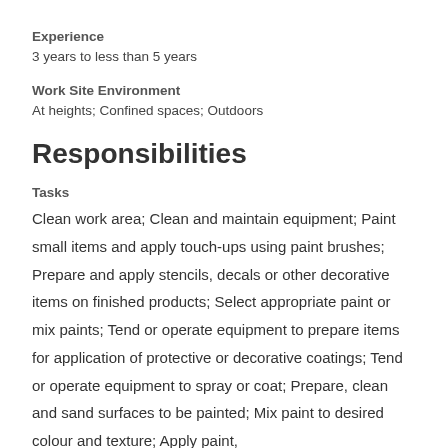Experience
3 years to less than 5 years
Work Site Environment
At heights; Confined spaces; Outdoors
Responsibilities
Tasks
Clean work area; Clean and maintain equipment; Paint small items and apply touch-ups using paint brushes; Prepare and apply stencils, decals or other decorative items on finished products; Select appropriate paint or mix paints; Tend or operate equipment to prepare items for application of protective or decorative coatings; Tend or operate equipment to spray or coat; Prepare, clean and sand surfaces to be painted; Mix paint to desired colour and texture; Apply paint,